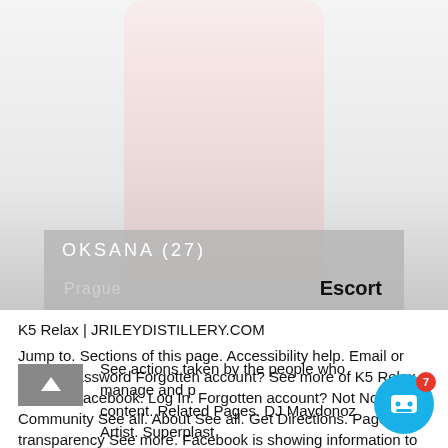[Figure (photo): A woman in pink and black lingerie kneeling, with a gray overlay bar at the bottom showing name 'OKSANA (27)', location 'Prague', and label 'Escort'.]
K5 Relax | JRILEYDISTILLERY.COM
Jump to. Sections of this page. Accessibility help. Email or Phone Password Forgotten account? See more of K5 Relax Club on Facebook. Log In. Forgotten account? Not Now. Community See all. About See all. Get Directions. Page transparency See more. Facebook is showing information to help you better understand the purpose of a Page.
See actions taken by the people who manage and post content. Related Pages. DJ Maydonoz Artist. Superplast